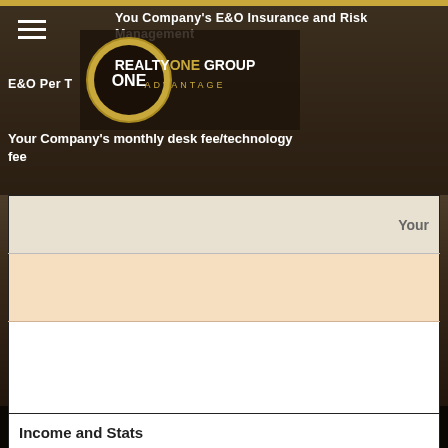You Company's E&O Insurance and Risk Management
[Figure (logo): Realty ONE Group Advantage logo — circular gold emblem with 'ONE' text and 'REALTYONE GROUP ADVANTAGE' wordmark]
E&O Per T...
Your Company's monthly desk fee/technology fee
|  | Your |
| --- | --- |
|  | Your |
|  |  |
|  |  |
| Income and Stats |  |
| Gross Volume Last 12 Months |  |
| Total GCI based average rate of |  |
| Total Sides Sold |  |